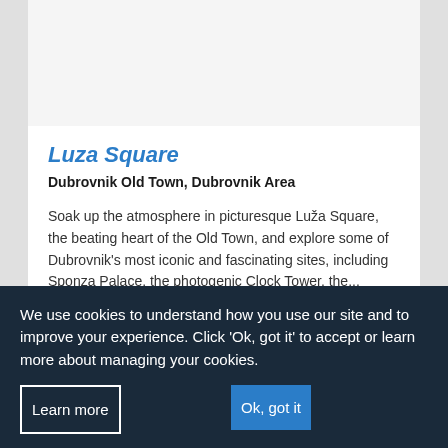[Figure (photo): Placeholder image area for Luza Square photo]
Luza Square
Dubrovnik Old Town, Dubrovnik Area
Soak up the atmosphere in picturesque Luža Square, the beating heart of the Old Town, and explore some of Dubrovnik's most iconic and fascinating sites, including Sponza Palace, the photogenic Clock Tower, the...
0.0 Km to Orlando Column - Map
View on map
Read more →
We use cookies to understand how you use our site and to improve your experience. Click 'Ok, got it' to accept or learn more about managing your cookies.
Learn more
Ok, got it